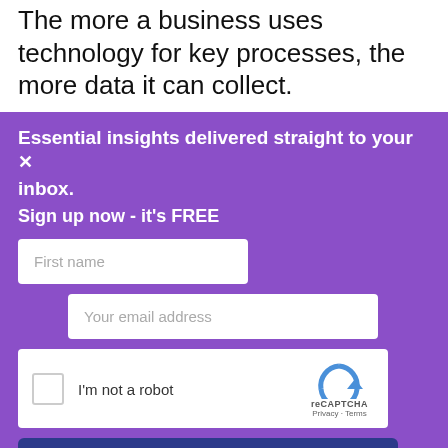The more a business uses technology for key processes, the more data it can collect.
Essential insights delivered straight to your inbox.
Sign up now - it's FREE
[Figure (screenshot): Newsletter signup form with First name field, email address field, reCAPTCHA widget, and SUBSCRIBE button]
By submitting your details you confirm you have read our T&Cs and privacy policy.